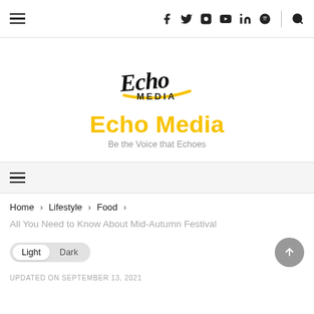Echo Media — top navigation bar with hamburger menu and social icons (Facebook, Twitter, Instagram, YouTube, LinkedIn, Spotify, Search)
[Figure (logo): Echo Media logo: stylized handwritten 'Echo' text above 'MEDIA' in caps, with a yellow underline swoosh]
Echo Media
Be the Voice that Echoes
Secondary navigation bar with hamburger menu
Home > Lifestyle > Food >
All You Need to Know About Mid-Autumn Festival
Light  Dark
UPDATED ON SEPTEMBER 13, 2021